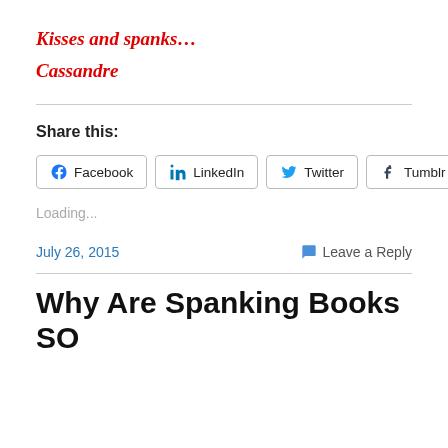Kisses and spanks…
Cassandre
Share this:
[Figure (other): Social share buttons: Facebook, LinkedIn, Twitter, Tumblr, More]
Loading...
July 26, 2015
Leave a Reply
Why Are Spanking Books SO